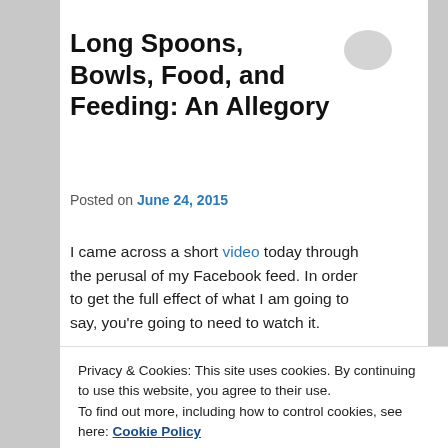Long Spoons, Bowls, Food, and Feeding: An Allegory
Posted on June 24, 2015
I came across a short video today through the perusal of my Facebook feed. In order to get the full effect of what I am going to say, you're going to need to watch it.
[Figure (screenshot): Embedded YouTube video thumbnail showing 'One Human Family, Food...' with a circular Union Jack flag icon on black background]
Privacy & Cookies: This site uses cookies. By continuing to use this website, you agree to their use.
To find out more, including how to control cookies, see here: Cookie Policy
Close and accept